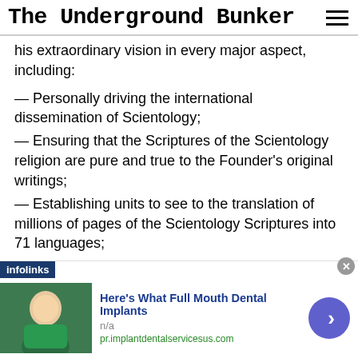The Underground Bunker
his extraordinary vision in every major aspect, including:
— Personally driving the international dissemination of Scientology;
— Ensuring that the Scriptures of the Scientology religion are pure and true to the Founder's original writings;
— Establishing units to see to the translation of millions of pages of the Scientology Scriptures into 71 languages;
— Restoring Mr. Hubbard's written works,
[Figure (infographic): Infolinks advertisement banner: 'Here's What Full Mouth Dental Implants' with image of a young person, n/a label, pr.implantdentalservicesus.com URL, and a purple arrow button. Close (x) button in top right.]